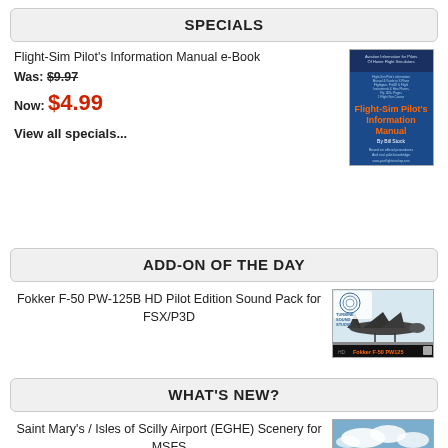SPECIALS
Flight-Sim Pilot's Information Manual e-Book
Was: $9.97
Now: $4.99
[Figure (photo): Cover of Flight-Sim Pilot's Information Manual book with blue cover]
View all specials...
ADD-ON OF THE DAY
Fokker F-50 PW-125B HD Pilot Edition Sound Pack for FSX/P3D
[Figure (photo): Product image for Fokker F-50 PW-125B HD Pilot Edition Sound Pack showing a turboprop aircraft]
WHAT'S NEW?
Saint Mary's / Isles of Scilly Airport (EGHE) Scenery for MSFS
$14.67
[Figure (photo): Scenery screenshot showing an airport with sky and landscape]